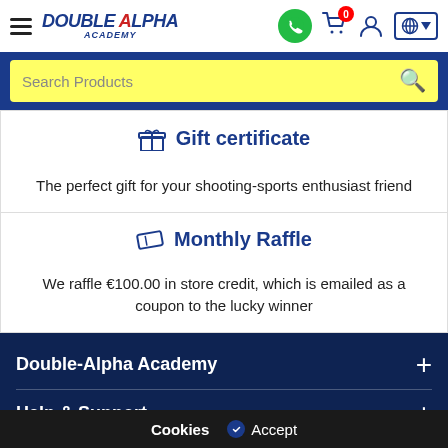[Figure (logo): Double Alpha Academy logo with hamburger menu icon on the left and navigation icons (WhatsApp, cart with 0 badge, user, globe) on the right]
[Figure (screenshot): Yellow search bar with placeholder text 'Search Products' and a search icon, inside a blue navigation banner]
Gift certificate
The perfect gift for your shooting-sports enthusiast friend
Monthly Raffle
We raffle €100.00 in store credit, which is emailed as a coupon to the lucky winner
Double-Alpha Academy
Help & Support
Cookies  Accept